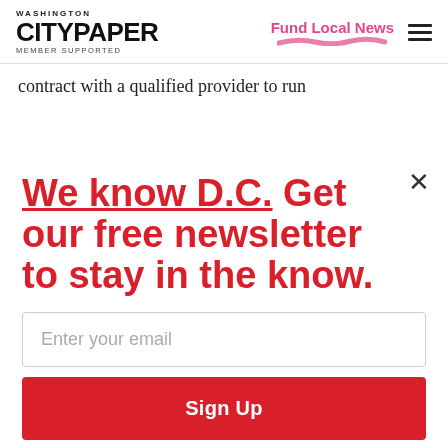WASHINGTON CITYPAPER MEMBER SUPPORTED | Fund Local News
contract with a qualified provider to run
We know D.C. Get our free newsletter to stay in the know.
Enter your email
Sign Up
Unsubscribe any time.